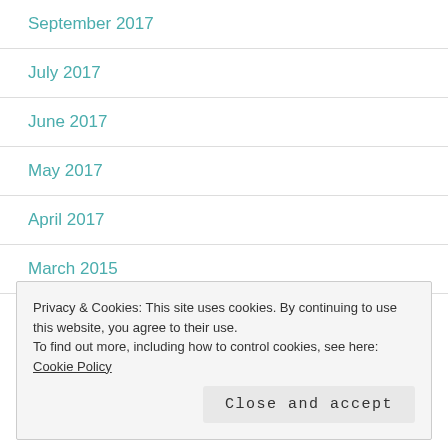September 2017
July 2017
June 2017
May 2017
April 2017
March 2015
February 2015
Privacy & Cookies: This site uses cookies. By continuing to use this website, you agree to their use.
To find out more, including how to control cookies, see here: Cookie Policy
Close and accept